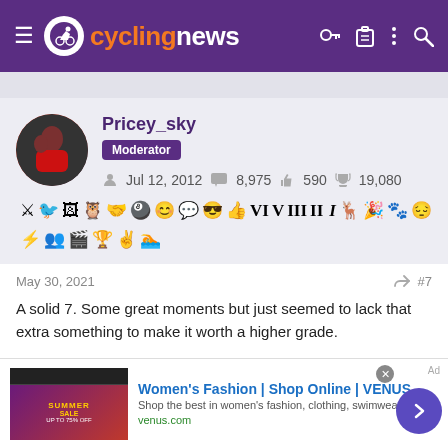cyclingnews
Pricey_sky
Moderator
Jul 12, 2012  8,975  590  19,080
May 30, 2021  #7
A solid 7. Some great moments but just seemed to lack that extra something to make it worth a higher grade.
It also lacked a decent battle for the points and mountains jersey
[Figure (screenshot): Advertisement banner: Women's Fashion | Shop Online | VENUS. Shop the best in women's fashion, clothing, swimwear. venus.com]